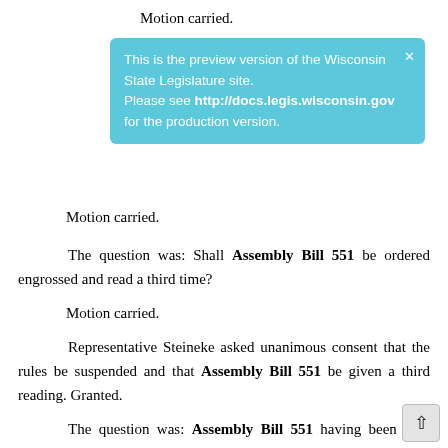Motion carried.
This is the preview version of the Wisconsin State Legislature site. Please see http://docs.legis.wisconsin.gov for the production version.
Motion carried.
The question was: Shall Assembly Bill 551 be ordered engrossed and read a third time?
Motion carried.
Representative Steineke asked unanimous consent that the rules be suspended and that Assembly Bill 551 be given a third reading. Granted.
The question was: Assembly Bill 551 having been read three times, shall the bill be passed?
Motion carried.